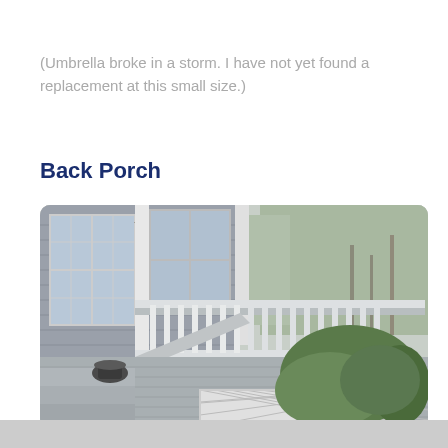(Umbrella broke in a storm. I have not yet found a replacement at this small size.)
Back Porch
[Figure (photo): Exterior photo of a back porch with grey painted wooden deck, white railing with vertical balusters, steps leading down, lattice skirting below the deck, a cast iron urn planter on the steps, siding of the house visible on the left, windows, exterior lantern light fixtures, and a hedge/shrubs on the right with trees in the background.]